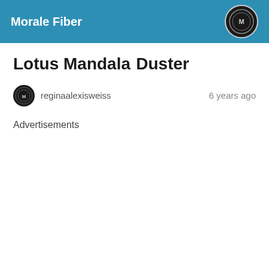Morale Fiber
Lotus Mandala Duster
reginaalexisweiss  6 years ago
Advertisements